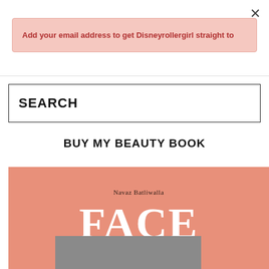×
Add your email address to get Disneyrollergirl straight to
SEARCH
BUY MY BEAUTY BOOK
[Figure (illustration): Book cover with salmon/coral background, author name 'Navaz Batliwalla', large white serif title 'FACE', and a gray rectangular bar at the bottom of the cover]